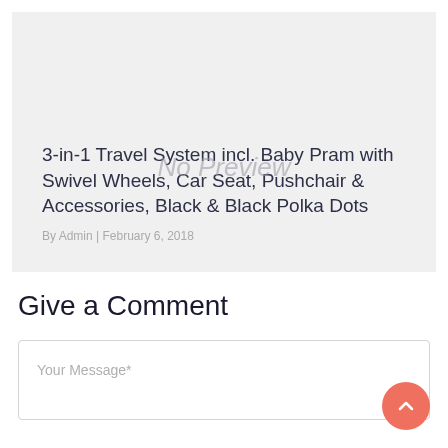[Figure (screenshot): Gray card area with 'No Preview' watermark text overlay, representing a blog post thumbnail placeholder]
3-in-1 Travel System incl. Baby Pram with Swivel Wheels, Car Seat, Pushchair & Accessories, Black & Black Polka Dots
By Admin | February 6, 2018
Give a Comment
Your Message*